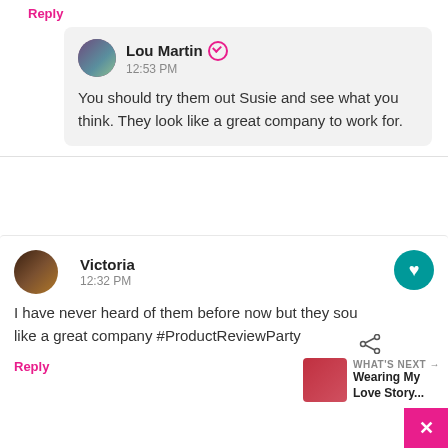Reply
Lou Martin  12:53 PM
You should try them out Susie and see what you think. They look like a great company to work for.
Victoria
12:32 PM
I have never heard of them before now but they sou like a great company #ProductReviewParty
Reply
WHAT'S NEXT → Wearing My Love Story...